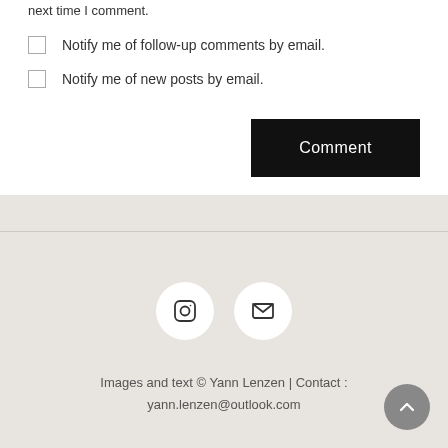next time I comment.
Notify me of follow-up comments by email.
Notify me of new posts by email.
Comment
[Figure (illustration): Instagram icon circle button and email envelope icon circle button]
Images and text © Yann Lenzen | Contact : yann.lenzen@outlook.com